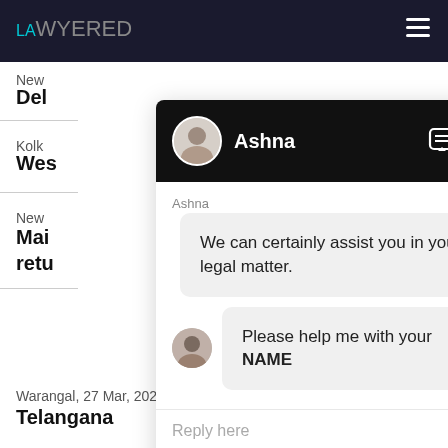LAWYERED
New
Del
Kolk
Wes
New
Mai
retu
Warangal,  27 Mar, 2022,  (5 months ago)
Telangana
[Figure (screenshot): Chat widget showing conversation with 'Ashna'. First message bubble: 'We can certainly assist you in your legal matter.' Second message bubble with user avatar: 'Please help me with your NAME'. Footer has reply input and attachment/emoji icons.]